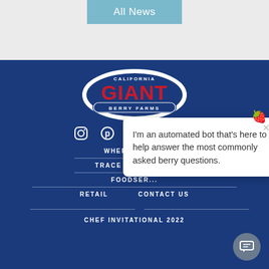All News
[Figure (logo): California Giant Berry Farms logo — oval badge with red GIANT text, white outline, blue background, 'CALIFORNIA' above and 'BERRY FARMS' below on dark blue banner]
WHERE TO BUY
TRACE MY BERRIES
FOODSER...
RETAIL
CONTACT US
CHEF INVITATIONAL 2022
I'm an automated bot that's here to help answer the most commonly asked berry questions.